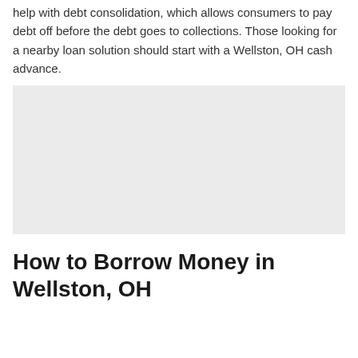help with debt consolidation, which allows consumers to pay debt off before the debt goes to collections. Those looking for a nearby loan solution should start with a Wellston, OH cash advance.
[Figure (other): A large light gray placeholder image block]
How to Borrow Money in Wellston, OH